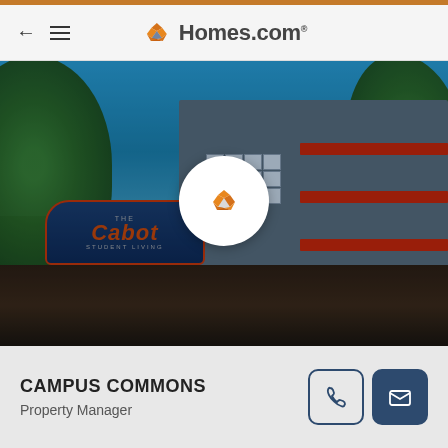Homes.com
[Figure (photo): Exterior photo of Campus Commons apartment complex showing a multi-story building with red balconies, surrounded by trees, with a property sign reading 'The Cabot Student Living' in the foreground. A Homes.com play button overlay is centered on the image.]
CAMPUS COMMONS
Property Manager